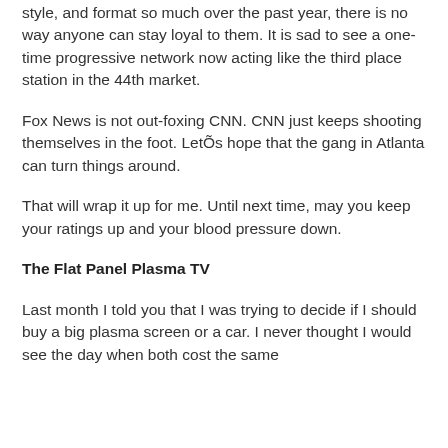style, and format so much over the past year, there is no way anyone can stay loyal to them. It is sad to see a one-time progressive network now acting like the third place station in the 44th market.
Fox News is not out-foxing CNN. CNN just keeps shooting themselves in the foot. LetÕs hope that the gang in Atlanta can turn things around.
That will wrap it up for me. Until next time, may you keep your ratings up and your blood pressure down.
The Flat Panel Plasma TV
Last month I told you that I was trying to decide if I should buy a big plasma screen or a car. I never thought I would see the day when both cost the same